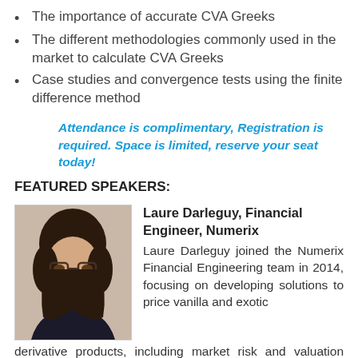The importance of accurate CVA Greeks
The different methodologies commonly used in the market to calculate CVA Greeks
Case studies and convergence tests using the finite difference method
Attendance is complimentary, Registration is required. Space is limited, reserve your seat today!
FEATURED SPEAKERS:
[Figure (photo): Headshot photo of Laure Darleguy, a woman with dark hair and glasses]
Laure Darleguy, Financial Engineer, Numerix
Laure Darleguy joined the Numerix Financial Engineering team in 2014, focusing on developing solutions to price vanilla and exotic derivative products, including market risk and valuation adjustment measures, using Numerix